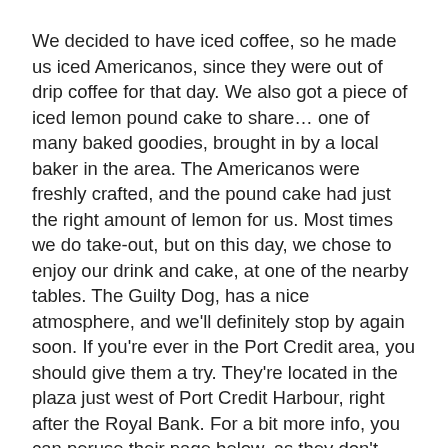We decided to have iced coffee, so he made us iced Americanos, since they were out of drip coffee for that day. We also got a piece of iced lemon pound cake to share… one of many baked goodies, brought in by a local baker in the area. The Americanos were freshly crafted, and the pound cake had just the right amount of lemon for us. Most times we do take-out, but on this day, we chose to enjoy our drink and cake, at one of the nearby tables. The Guilty Dog, has a nice atmosphere, and we'll definitely stop by again soon. If you're ever in the Port Credit area, you should give them a try. They're located in the plaza just west of Port Credit Harbour, right after the Royal Bank. For a bit more info, you can peruse their page below, as they don't have a dedicated website.
The Guilty Dog Coffee House Facebook Page